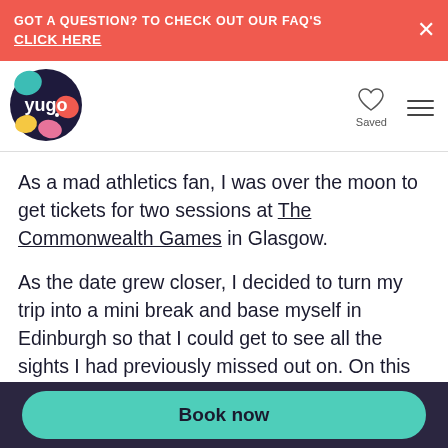GOT A QUESTION? TO CHECK OUT OUR FAQ'S CLICK HERE
[Figure (logo): Yugo logo — circular dark navy badge with colourful coral, teal, yellow and pink shapes and white 'yugo' wordmark]
As a mad athletics fan, I was over the moon to get tickets for two sessions at The Commonwealth Games in Glasgow.
As the date grew closer, I decided to turn my trip into a mini break and base myself in Edinburgh so that I could get to see all the sights I had previously missed out on. On this occasion the timing could not have been better as my stay coincided with the beginning of the Edinburgh Fringe Festival
Book now